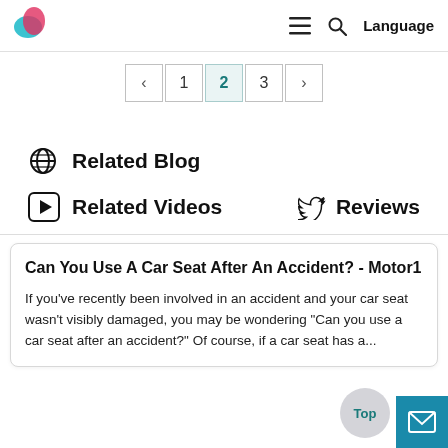Logo | Menu | Search | Language
[Figure (other): Pagination navigation with previous arrow, pages 1, 2 (active), 3, and next arrow]
Related Blog
Related Videos
Reviews
Can You Use A Car Seat After An Accident? - Motor1
If you've recently been involved in an accident and your car seat wasn't visibly damaged, you may be wondering "Can you use a car seat after an accident?" Of course, if a car seat has a...